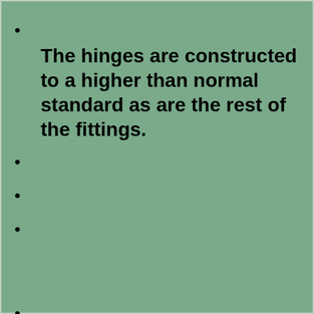The hinges are constructed to a higher than normal standard as are the rest of the fittings.